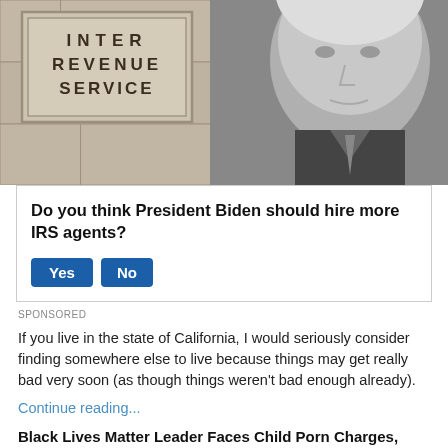[Figure (photo): Black and white composite image showing the IRS (Internal Revenue Service) building sign on the left and a man's face (President Biden) on the right, both in grayscale.]
Do you think President Biden should hire more IRS agents?
Yes   No
SPONSORED
If you live in the state of California, I would seriously consider finding somewhere else to live because things may get really bad very soon (as though things weren't bad enough already).
Continue reading...
Black Lives Matter Leader Faces Child Porn Charges, Now We Know Why They Want To Defund The Police